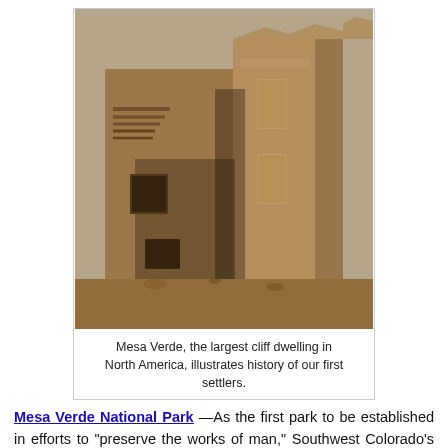[Figure (photo): Sepia-toned photograph of ancient cliff dwelling structures at Mesa Verde, showing multi-story adobe/stone rooms with small rectangular windows and log beam supports.]
Mesa Verde, the largest cliff dwelling in North America, illustrates history of our first settlers.
Mesa Verde National Park —As the first park to be established in efforts to "preserve the works of man," Southwest Colorado's Mesa Verde takes visitors back in time to showcase more than 700 years of Ancestral Puebloan history. Mesa Verde is also the largest archeological preserve in the U.S. In summer take a ranger-guided tour throughout the largest cliff dwellings in North America, including Cliff Palace, the park's biggest cliff dwelling. The abundant winter ecology allows for snowy hikes. Because of Mesa Verde's bare trees, wildlife is more visible in the winter. Nordic skiing and snowshoeing are perfect opportunities to find animal